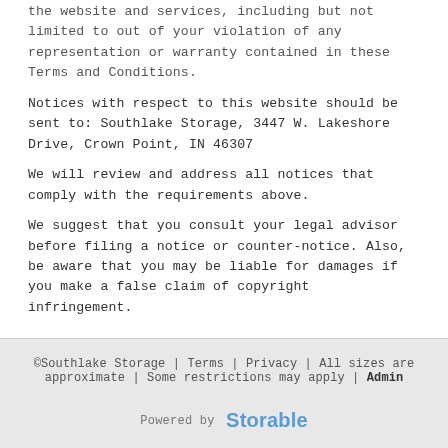the website and services, including but not limited to out of your violation of any representation or warranty contained in these Terms and Conditions.
Notices with respect to this website should be sent to: Southlake Storage, 3447 W. Lakeshore Drive, Crown Point, IN 46307
We will review and address all notices that comply with the requirements above.
We suggest that you consult your legal advisor before filing a notice or counter-notice. Also, be aware that you may be liable for damages if you make a false claim of copyright infringement.
©Southlake Storage | Terms | Privacy | All sizes are approximate | Some restrictions may apply | Admin
Powered by Storable